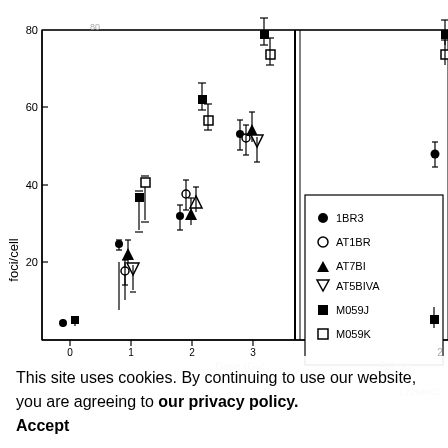Advertisement
[Figure (scatter-plot): Scatter plot showing foci/cell measurements at various radiation doses for six cell lines: 1BR3 (filled circle), AT1BR (open circle), AT7BI (filled inverted triangle), AT5BIVA (open inverted triangle), M059J (filled square), M059K (open square). Y-axis labels visible: 20, 40, 60, 80 (partial). X-axis doses visible: 0, 1, 2, 3, 4, 5, 6 and a separate panel with LY294002. Two panel layout with a break. Legend shown inside plot area.]
This site uses cookies. By continuing to use our website, you are agreeing to our privacy policy. Accept